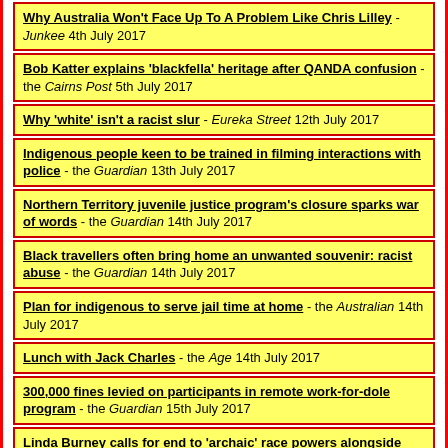Why Australia Won't Face Up To A Problem Like Chris Lilley - Junkee 4th July 2017
Bob Katter explains 'blackfella' heritage after QANDA confusion - the Cairns Post 5th July 2017
Why 'white' isn't a racist slur - Eureka Street 12th July 2017
Indigenous people keen to be trained in filming interactions with police - the Guardian 13th July 2017
Northern Territory juvenile justice program's closure sparks war of words - the Guardian 14th July 2017
Black travellers often bring home an unwanted souvenir: racist abuse - the Guardian 14th July 2017
Plan for indigenous to serve jail time at home - the Australian 14th July 2017
Lunch with Jack Charles - the Age 14th July 2017
300,000 fines levied on participants in remote work-for-dole program - the Guardian 15th July 2017
Linda Burney calls for end to 'archaic' race powers alongside Indigenous voice to parliament - the Guardian 18th July 2017